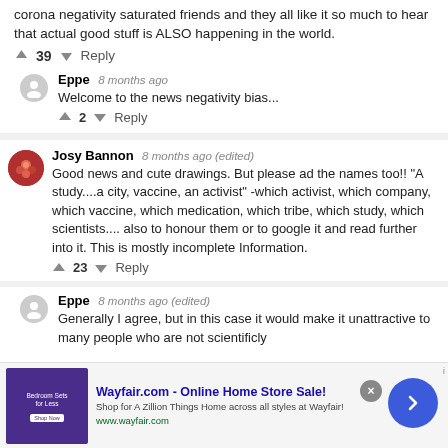corona negativity saturated friends and they all like it so much to hear that actual good stuff is ALSO happening in the world.
↑ 39 ↓ Reply
Eppe  8 months ago
Welcome to the news negativity bias...
↑ 2 ↓ Reply
Josy Bannon  8 months ago (edited)
Good news and cute drawings. But please ad the names too!! "A study....a city, vaccine, an activist" -which activist, which company, which vaccine, which medication, which tribe, which study, which scientists.... also to honour them or to google it and read further into it. This is mostly incomplete Information.
↑ 23 ↓ Reply
Eppe  8 months ago (edited)
Generally I agree, but in this case it would make it unattractive to many people who are not scientificly
[Figure (screenshot): Wayfair.com advertisement banner: 'Wayfair.com - Online Home Store Sale! Shop for A Zillion Things Home across all styles at Wayfair! www.wayfair.com']